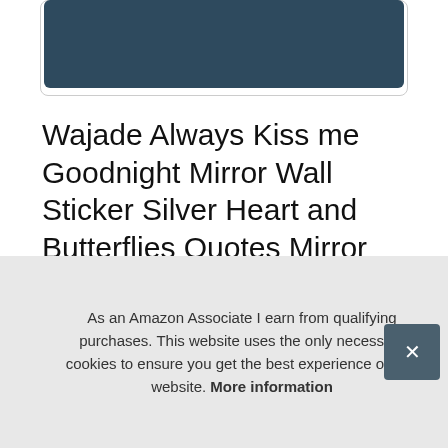[Figure (photo): Top portion of a product image with dark blue-grey background, partially visible]
Wajade Always Kiss me Goodnight Mirror Wall Sticker Silver Heart and Butterflies Quotes Mirror Wall Decals Acrylic Family Inspirational Saying Words Wall Art Home Decoration for Bedroom Playroom
[Figure (photo): Thumbnail product image on the left side, partially visible]
As an Amazon Associate I earn from qualifying purchases. This website uses the only necessary cookies to ensure you get the best experience on our website. More information